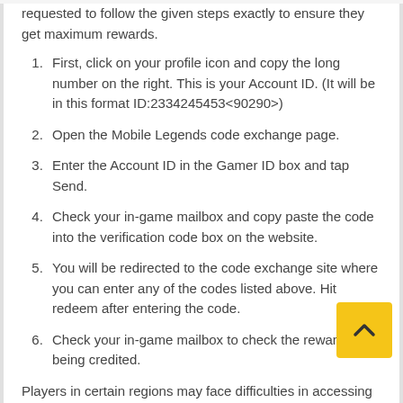requested to follow the given steps exactly to ensure they get maximum rewards.
First, click on your profile icon and copy the long number on the right. This is your Account ID. (It will be in this format ID:2334245453<90290>)
Open the Mobile Legends code exchange page.
Enter the Account ID in the Gamer ID box and tap Send.
Check your in-game mailbox and copy paste the code into the verification code box on the website.
You will be redirected to the code exchange site where you can enter any of the codes listed above. Hit redeem after entering the code.
Check your in-game mailbox to check the rewards being credited.
Players in certain regions may face difficulties in accessing the code exchange site. In these cases, using a